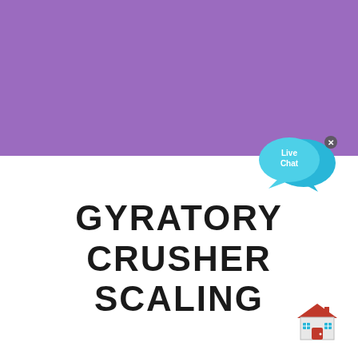[Figure (illustration): Purple/violet rectangular banner filling the top portion of the page]
[Figure (illustration): Live Chat widget with two overlapping speech bubbles in cyan/blue color, labeled 'Live Chat', with a small 'x' close button in the top right corner]
GYRATORY CRUSHER SCALING
[Figure (illustration): Small red house/building icon in the bottom right corner]